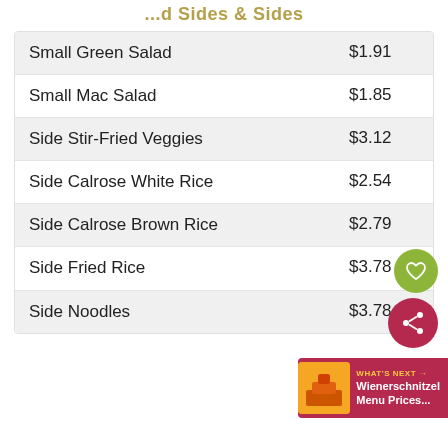...d Sides & Sides
| Item | Price |
| --- | --- |
| Small Green Salad | $1.91 |
| Small Mac Salad | $1.85 |
| Side Stir-Fried Veggies | $3.12 |
| Side Calrose White Rice | $2.54 |
| Side Calrose Brown Rice | $2.79 |
| Side Fried Rice | $3.78 |
| Side Noodles | $3.78 |